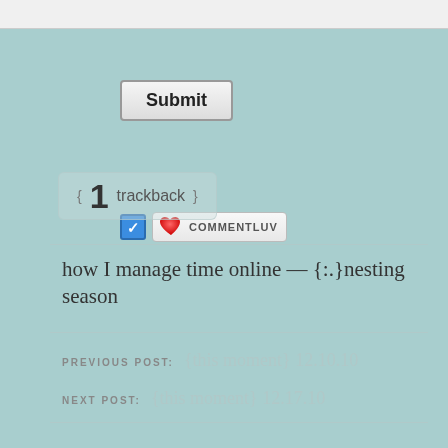[Figure (screenshot): Submit button — gray gradient button with bold black text 'Submit' and a border]
[Figure (screenshot): CommentLuv plugin badge — blue checkbox checked, red heart icon, 'COMMENTLUV' text label]
{ 1 trackback }
how I manage time online — {:.}nesting season
PREVIOUS POST: {this moment} 12.10.10
NEXT POST: {this moment} 12.17.10